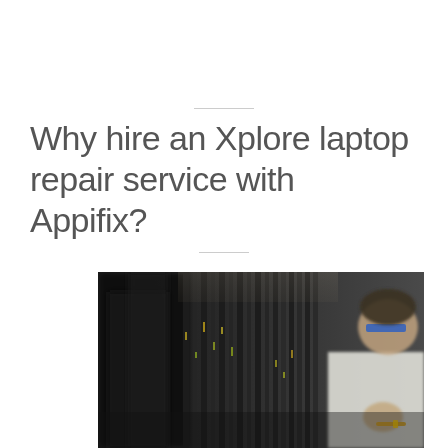Why hire an Xplore laptop repair service with Appifix?
[Figure (photo): A technician wearing blue safety glasses leans over a row of electronic equipment or server rack components, working with a tool. The image has a shallow depth of field with a blurred foreground.]